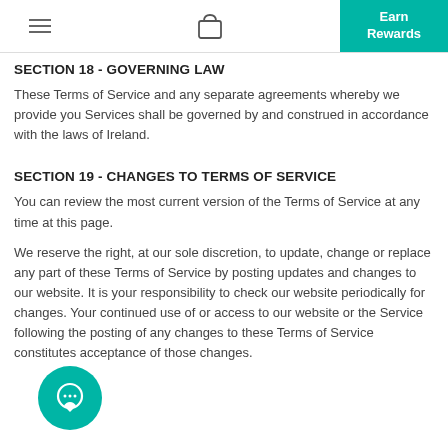Earn Rewards
SECTION 18 - GOVERNING LAW
These Terms of Service and any separate agreements whereby we provide you Services shall be governed by and construed in accordance with the laws of Ireland.
SECTION 19 - CHANGES TO TERMS OF SERVICE
You can review the most current version of the Terms of Service at any time at this page.
We reserve the right, at our sole discretion, to update, change or replace any part of these Terms of Service by posting updates and changes to our website. It is your responsibility to check our website periodically for changes. Your continued use of or access to our website or the Service following the posting of any changes to these Terms of Service constitutes acceptance of those changes.